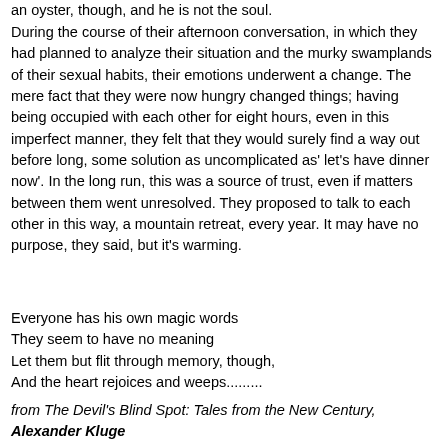an oyster, though, and he is not the soul.
During the course of their afternoon conversation, in which they had planned to analyze their situation and the murky swamplands of their sexual habits, their emotions underwent a change. The mere fact that they were now hungry changed things; having being occupied with each other for eight hours, even in this imperfect manner, they felt that they would surely find a way out before long, some solution as uncomplicated as' let's have dinner now'. In the long run, this was a source of trust, even if matters between them went unresolved. They proposed to talk to each other in this way, a mountain retreat, every year. It may have no purpose, they said, but it's warming.
Everyone has his own magic words
They seem to have no meaning
Let them but flit through memory, though,
And the heart rejoices and weeps.........
from The Devil's Blind Spot: Tales from the New Century, Alexander Kluge